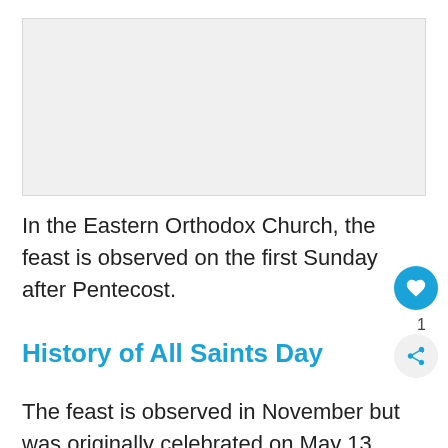[Figure (other): Placeholder image area with light gray background]
In the Eastern Orthodox Church, the feast is observed on the first Sunday after Pentecost.
History of All Saints Day
The feast is observed in November but was originally celebrated on May 13...